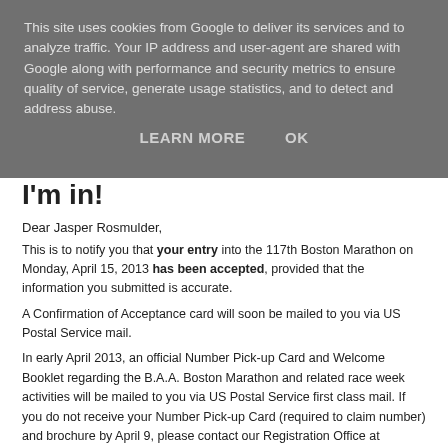This site uses cookies from Google to deliver its services and to analyze traffic. Your IP address and user-agent are shared with Google along with performance and security metrics to ensure quality of service, generate usage statistics, and to detect and address abuse.
LEARN MORE   OK
I'm in!
Dear Jasper Rosmulder,
This is to notify you that your entry into the 117th Boston Marathon on Monday, April 15, 2013 has been accepted, provided that the information you submitted is accurate.
A Confirmation of Acceptance card will soon be mailed to you via US Postal Service mail.
In early April 2013, an official Number Pick-up Card and Welcome Booklet regarding the B.A.A. Boston Marathon and related race week activities will be mailed to you via US Postal Service first class mail. If you do not receive your Number Pick-up Card (required to claim number) and brochure by April 9, please contact our Registration Office at registration@baa.org. Registration related inquiries may also be directed to 508-435-6905.